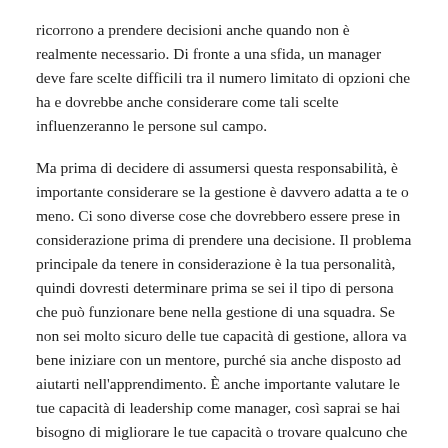ricorrono a prendere decisioni anche quando non è realmente necessario. Di fronte a una sfida, un manager deve fare scelte difficili tra il numero limitato di opzioni che ha e dovrebbe anche considerare come tali scelte influenzeranno le persone sul campo.
Ma prima di decidere di assumersi questa responsabilità, è importante considerare se la gestione è davvero adatta a te o meno. Ci sono diverse cose che dovrebbero essere prese in considerazione prima di prendere una decisione. Il problema principale da tenere in considerazione è la tua personalità, quindi dovresti determinare prima se sei il tipo di persona che può funzionare bene nella gestione di una squadra. Se non sei molto sicuro delle tue capacità di gestione, allora va bene iniziare con un mentore, purché sia anche disposto ad aiutarti nell'apprendimento. È anche importante valutare le tue capacità di leadership come manager, così saprai se hai bisogno di migliorare le tue capacità o trovare qualcuno che ti aiuti a sviluppare le tue capacità di leadership.